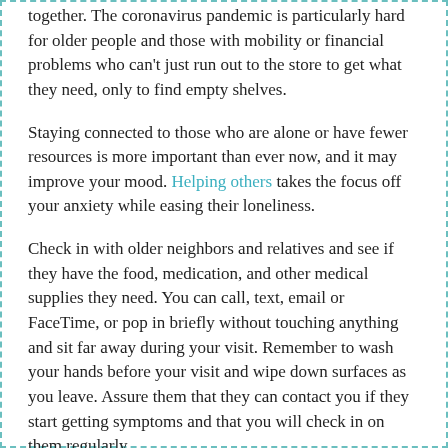together. The coronavirus pandemic is particularly hard for older people and those with mobility or financial problems who can't just run out to the store to get what they need, only to find empty shelves.
Staying connected to those who are alone or have fewer resources is more important than ever now, and it may improve your mood. Helping others takes the focus off your anxiety while easing their loneliness.
Check in with older neighbors and relatives and see if they have the food, medication, and other medical supplies they need. You can call, text, email or FaceTime, or pop in briefly without touching anything and sit far away during your visit. Remember to wash your hands before your visit and wipe down surfaces as you leave. Assure them that they can contact you if they start getting symptoms and that you will check in on them regularly.
Consider cooking a meal or two for those in need. If you don't know anyone that requires attention, consider donating to your local food pantry. Food pantries are vital to feeding low-income communities and the elderly.